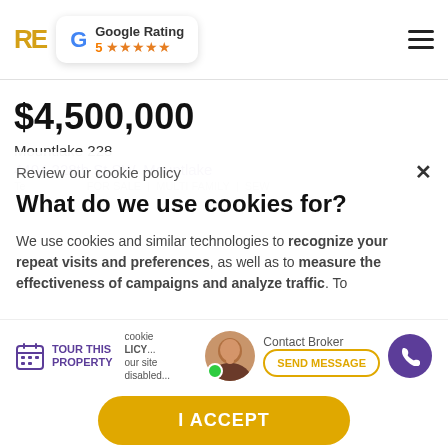RE | Google Rating 5 ★★★★★
$4,500,000
Mountlake 228
4404 228th St SW, Mountlake
Review our cookie policy
What do we use cookies for?
We use cookies and similar technologies to recognize your repeat visits and preferences, as well as to measure the effectiveness of campaigns and analyze traffic. To...
TOUR THIS PROPERTY
Contact Broker
SEND MESSAGE
I ACCEPT